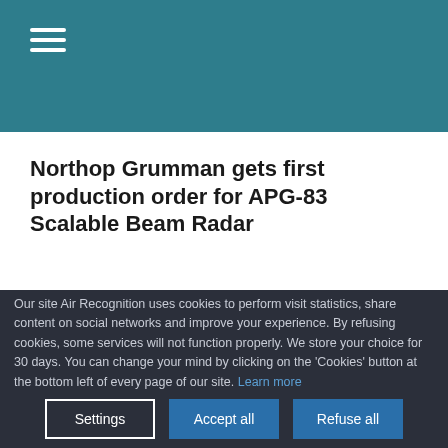≡ (hamburger menu)
Northop Grumman gets first production order for APG-83 Scalable Beam Radar
Our site Air Recognition uses cookies to perform visit statistics, share content on social networks and improve your experience. By refusing cookies, some services will not function properly. We store your choice for 30 days. You can change your mind by clicking on the 'Cookies' button at the bottom left of every page of our site. Learn more